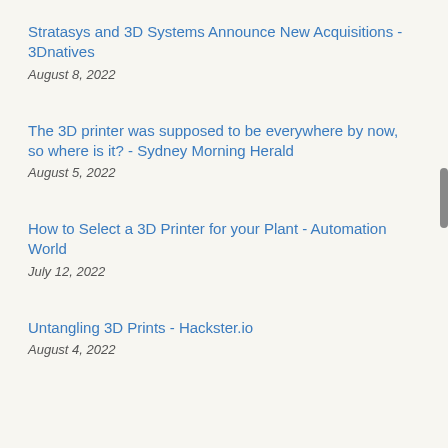Stratasys and 3D Systems Announce New Acquisitions - 3Dnatives
August 8, 2022
The 3D printer was supposed to be everywhere by now, so where is it? - Sydney Morning Herald
August 5, 2022
How to Select a 3D Printer for your Plant - Automation World
July 12, 2022
Untangling 3D Prints - Hackster.io
August 4, 2022